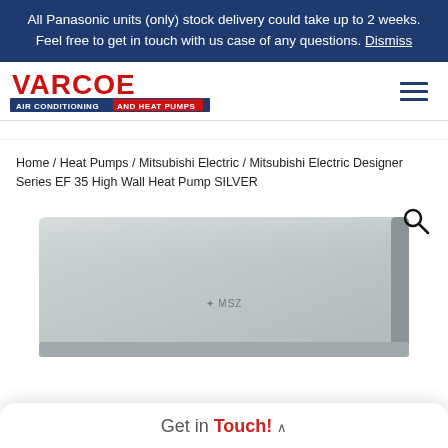All Panasonic units (only) stock delivery could take up to 2 weeks. Feel free to get in touch with us case of any questions. Dismiss
[Figure (logo): Varcoe Air Conditioning and Heat Pumps logo with red text on white background and blue/red banner below]
Home / Heat Pumps / Mitsubishi Electric / Mitsubishi Electric Designer Series EF 35 High Wall Heat Pump SILVER
[Figure (photo): Mitsubishi Electric Designer Series EF 35 High Wall Heat Pump in silver color, rectangular wall-mounted unit with sleek flat panel design]
Get in Touch!